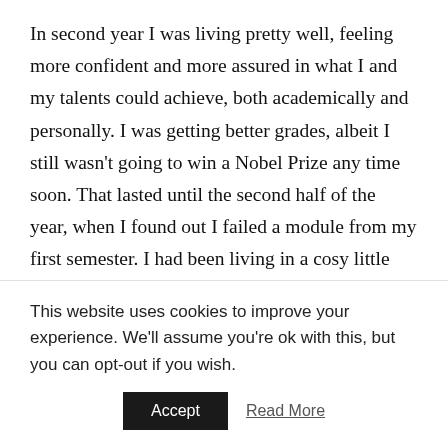In second year I was living pretty well, feeling more confident and more assured in what I and my talents could achieve, both academically and personally. I was getting better grades, albeit I still wasn't going to win a Nobel Prize any time soon. That lasted until the second half of the year, when I found out I failed a module from my first semester. I had been living in a cosy little bubble of arrogance that came from my intelligence, my easy upbringing, and my loving and supportive family. How could I possibly fail when I'm reasonably talented, even if I had no drive or solid
This website uses cookies to improve your experience. We'll assume you're ok with this, but you can opt-out if you wish.
Accept   Read More